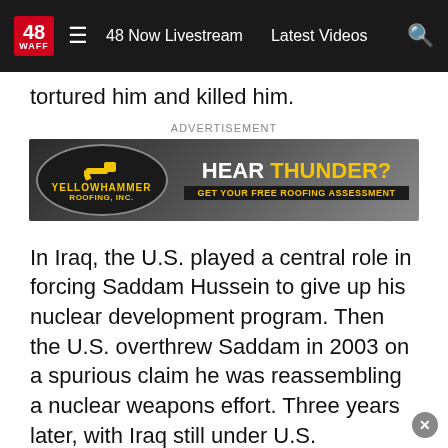48 WAFF | 48 Now Livestream | Latest Videos
tortured him and killed him.
[Figure (other): Advertisement banner for Yellowhammer Roofing Inc. with the text HEAR THUNDER? GET YOUR FREE ROOFING ASSESSMENT]
In Iraq, the U.S. played a central role in forcing Saddam Hussein to give up his nuclear development program. Then the U.S. overthrew Saddam in 2003 on a spurious claim he was reassembling a nuclear weapons effort. Three years later, with Iraq still under U.S. occupation, Saddam plunged through a gallows.
The Middle East leaders' fall and brutal deaths have clouded denuclearization efforts with North Korea. Rare U.S.-North Korea talks in 2018 collapsed after the Trump